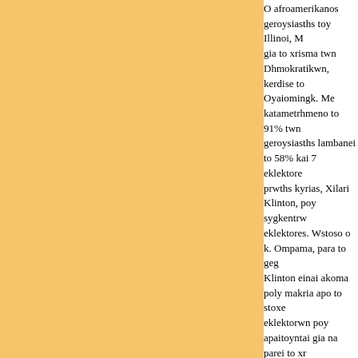O afroamerikanos geroysiasths toy Illinoi, M... gia to xrisma twn Dhmokratikwn, kerdise to... Oyaiomingk. Me katametrhmeno to 91% twn... geroysiasths lambanei to 58% kai 7 eklektore... prwths kyrias, Xilari Klinton, poy sygkentrw... eklektores. Wstoso o k. Ompama, para to geg... Klinton einai akoma poly makria apo to stoxe... eklektorwn poy apaitoyntai gia na parei to xr... proedrikes ekloges toy Noembrioy me antipa... Repoymplikanwn, Tzon Makein. Toso o k. O... estiazoyn twra oles tis dynameis toys sthn an... qa diejaxqei thn Trith kai sthn Pensylbania po...
The Hellenic Radio (ERA): News in ASCII Greek D... Article
Copyright © 1995-2022 HR-Net (Hellenic Resources Network). An HRI Project. All Rights Reserved.
HTML by the HR-Net Group / Hellenic Resources Institute, Inc. eragr2html v1.00 run on Sunday, 9 March 2008 - 9:49:44 UTC